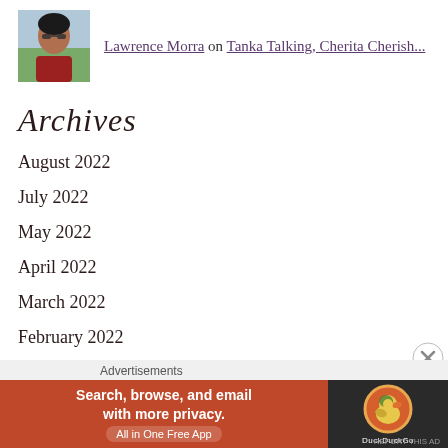[Figure (photo): Small avatar photo of a person wearing sunglasses and a red jacket, dark hair]
Lawrence Morra on Tanka Talking, Cherita Cherish...
Archives
August 2022
July 2022
May 2022
April 2022
March 2022
February 2022
January 2022
December 2021
November 2021
Advertisements
[Figure (infographic): DuckDuckGo advertisement banner: 'Search, browse, and email with more privacy. All in One Free App' with DuckDuckGo logo on dark background]